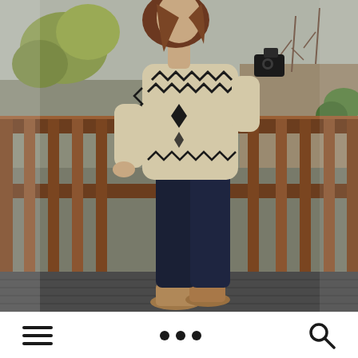[Figure (photo): A woman standing on a wooden deck railing, wearing a cream/beige sweater with a black geometric/Aztec pattern, dark navy skinny jeans, and tan suede ankle boots/oxford shoes. She has long brown hair and is holding a camera. The background shows a wooden deck with dark brown railings and a yard with bare/sparse trees. The photo is taken from a side/profile angle.]
[Figure (screenshot): Mobile app bottom toolbar with three icons: a hamburger menu icon (three horizontal lines) on the left, three dots (ellipsis) in the center, and a magnifying glass search icon on the right. White background.]